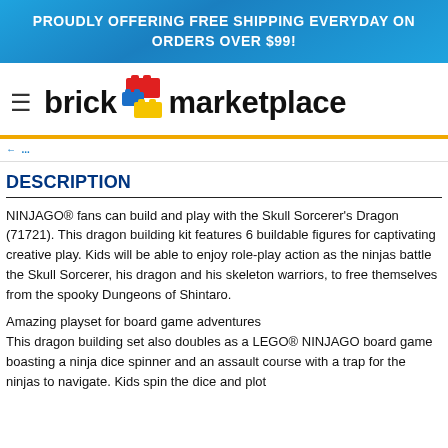PROUDLY OFFERING FREE SHIPPING EVERYDAY ON ORDERS OVER $99!
[Figure (logo): Brick Marketplace logo with hamburger menu icon, LEGO brick icon between 'brick' and 'marketplace' text]
DESCRIPTION
NINJAGO® fans can build and play with the Skull Sorcerer's Dragon (71721). This dragon building kit features 6 buildable figures for captivating creative play. Kids will be able to enjoy role-play action as the ninjas battle the Skull Sorcerer, his dragon and his skeleton warriors, to free themselves from the spooky Dungeons of Shintaro.
Amazing playset for board game adventures
This dragon building set also doubles as a LEGO® NINJAGO board game boasting a ninja dice spinner and an assault course with a trap for the ninjas to navigate. Kids spin the dice and plot